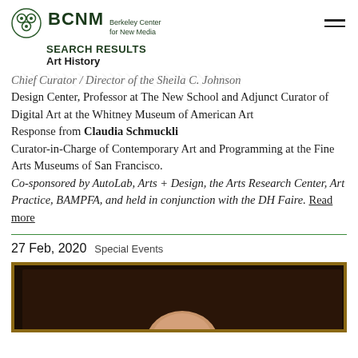BCNM Berkeley Center for New Media
SEARCH RESULTS
Art History
Chief Curator / Director of the Sheila C. Johnson Design Center, Professor at The New School and Adjunct Curator of Digital Art at the Whitney Museum of American Art
Response from Claudia Schmuckli
Curator-in-Charge of Contemporary Art and Programming at the Fine Arts Museums of San Francisco.
Co-sponsored by AutoLab, Arts + Design, the Arts Research Center, Art Practice, BAMPFA, and held in conjunction with the DH Faire. Read more
27 Feb, 2020  Special Events
[Figure (photo): A photograph showing a framed portrait with a gold ornate frame, dark background, showing a person's face partially visible at the bottom]